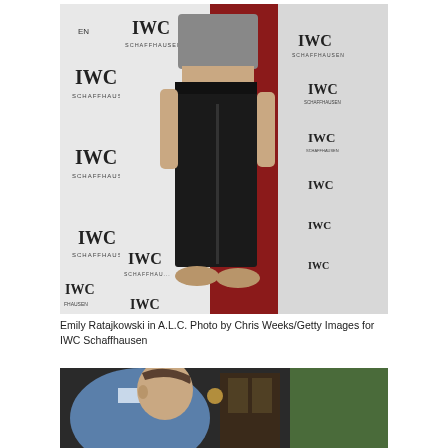[Figure (photo): Emily Ratajkowski standing on a red carpet in front of an IWC Schaffhausen branded backdrop, wearing a grey crop top, high-waisted black trousers, and tan flat shoes]
Emily Ratajkowski in A.L.C. Photo by Chris Weeks/Getty Images for IWC Schaffhausen
[Figure (photo): A man in a light blue shirt photographed from the side near a building entrance with greenery visible]